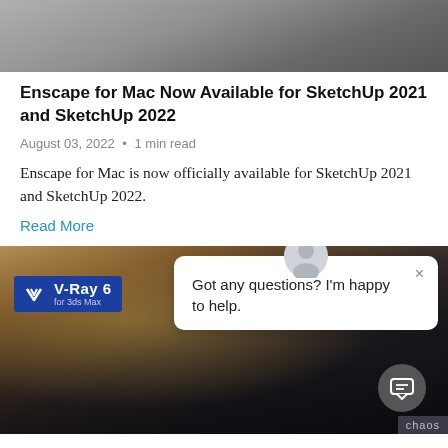[Figure (photo): Partial top of a dark architectural/design rendering image, cropped at the top of the page]
Enscape for Mac Now Available for SketchUp 2021 and SketchUp 2022
August 03, 2022 • 1 min read
Enscape for Mac is now officially available for SketchUp 2021 and SketchUp 2022.
Read More
[Figure (screenshot): Promotional image for V-Ray 6 for 3ds Max showing a dramatic rocky mountain landscape with warm sunlight, with a V-Ray 6 badge overlay on the left and a chat widget popup on the right saying 'Got any questions? I'm happy to help.' with a close button, and a chaos branding badge at bottom right. A chat button is visible at bottom right.]